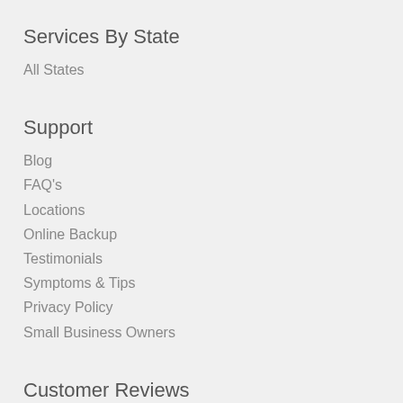Services By State
All States
Support
Blog
FAQ's
Locations
Online Backup
Testimonials
Symptoms & Tips
Privacy Policy
Small Business Owners
Customer Reviews
See all reviews
[Figure (illustration): Social media icons: Facebook, Google+, Yelp, Blog]